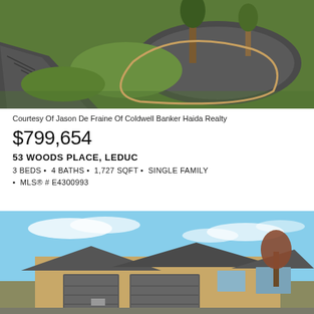[Figure (photo): Aerial/ground view of a landscaped front yard with dark rock mulch, curved garden borders, green grass, and trees]
Courtesy Of Jason De Fraine Of Coldwell Banker Haida Realty
$799,654
53 WOODS PLACE, LEDUC
3 BEDS • 4 BATHS • 1,727 SQFT • SINGLE FAMILY • MLS® # E4300993
[Figure (photo): Front exterior of a single-family home with tan/brown garage doors, gray roof, blue sky with light clouds]